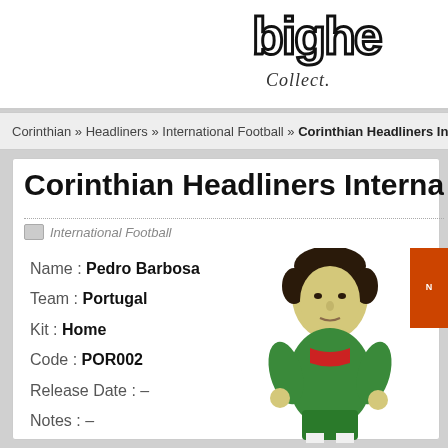bighe... Collect...
Corinthian » Headliners » International Football » Corinthian Headliners Int...
Corinthian Headliners International Foot...
International Football
Name : Pedro Barbosa
Team : Portugal
Kit : Home
Code : POR002
Release Date : –
Notes : –
[Figure (photo): A Corinthian Headliners football figurine of Pedro Barbosa in Portugal home kit (green and red), bobblehead-style]